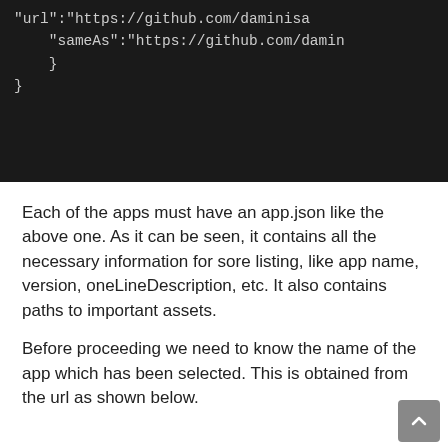[Figure (screenshot): Dark-background code block showing JSON snippet with 'url' and 'sameAs' keys pointing to github.com/damini... URLs, with closing braces.]
Each of the apps must have an app.json like the above one. As it can be seen, it contains all the necessary information for sore listing, like app name, version, oneLineDescription, etc. It also contains paths to important assets.
Before proceeding we need to know the name of the app which has been selected. This is obtained from the url as shown below.